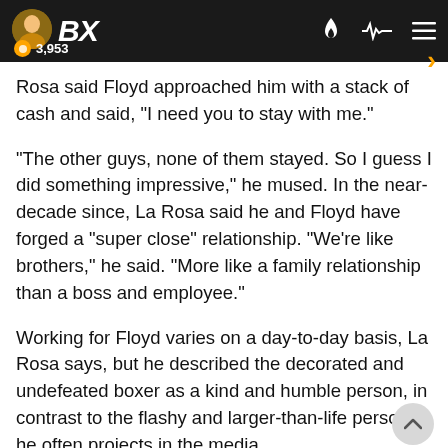BX | 3,953
Rosa said Floyd approached him with a stack of cash and said, "I need you to stay with me."
"The other guys, none of them stayed. So I guess I did something impressive," he mused. In the near-decade since, La Rosa said he and Floyd have forged a "super close" relationship. "We're like brothers," he said. "More like a family relationship than a boss and employee."
Working for Floyd varies on a day-to-day basis, La Rosa says, but he described the decorated and undefeated boxer as a kind and humble person, in contrast to the flashy and larger-than-life persona he often projects in the media.